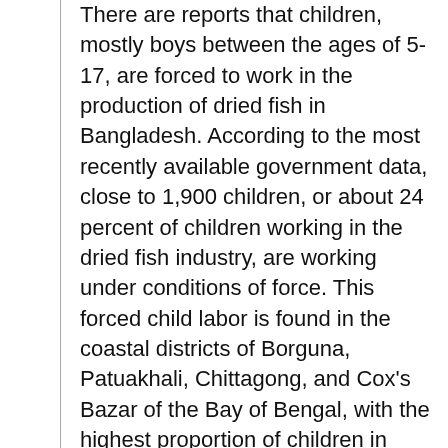There are reports that children, mostly boys between the ages of 5-17, are forced to work in the production of dried fish in Bangladesh. According to the most recently available government data, close to 1,900 children, or about 24 percent of children working in the dried fish industry, are working under conditions of force. This forced child labor is found in the coastal districts of Borguna, Patuakhali, Chittagong, and Cox's Bazar of the Bay of Bengal, with the highest proportion of children in forced labor working in Bagherhat. According to the Government's